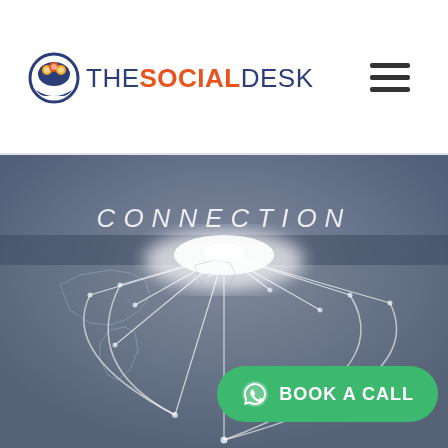[Figure (logo): The Social Desk logo with icon and text]
[Figure (illustration): Global network connection illustration with world map, glowing lines connecting dots, text CONNECTION overlaid, and a green BOOK A CALL button with WhatsApp icon]